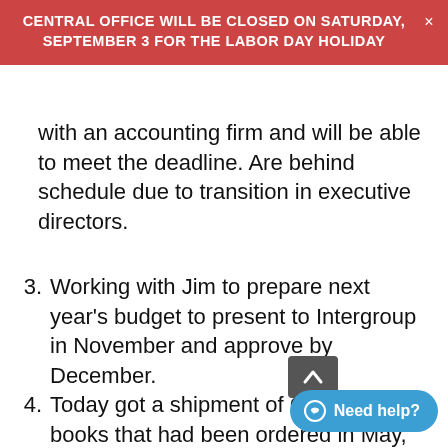CENTRAL OFFICE WILL BE CLOSED ON SATURDAY, SEPTEMBER 3 FOR THE LABOR DAY HOLIDAY
with an accounting firm and will be able to meet the deadline. Are behind schedule due to transition in executive directors.
3. Working with Jim to prepare next year’s budget to present to Intergroup in November and approve by December.
4. Today got a shipment of Grapevine books that had been ordered in May, including Fun in Sobriety book.
5. Would like to get volunteers at Central Office. If you are